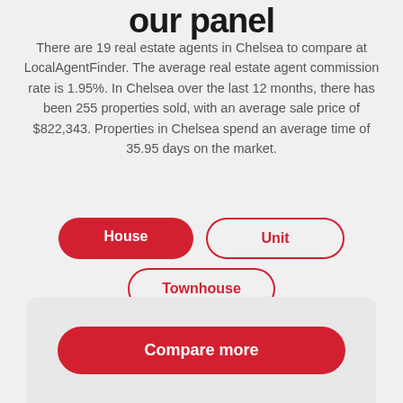our panel
There are 19 real estate agents in Chelsea to compare at LocalAgentFinder. The average real estate agent commission rate is 1.95%. In Chelsea over the last 12 months, there has been 255 properties sold, with an average sale price of $822,343. Properties in Chelsea spend an average time of 35.95 days on the market.
House
Unit
Townhouse
Compare more